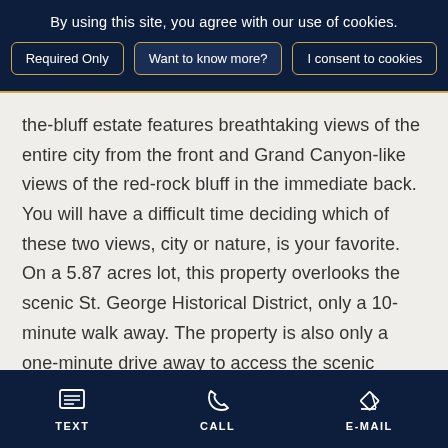By using this site, you agree with our use of cookies.
Required Only | Want to know more? | I consent to cookies
the-bluff estate features breathtaking views of the entire city from the front and Grand Canyon-like views of the red-rock bluff in the immediate back. You will have a difficult time deciding which of these two views, city or nature, is your favorite. On a 5.87 acres lot, this property overlooks the scenic St. George Historical District, only a 10-minute walk away. The property is also only a one-minute drive away to access the scenic
Show More
TEXT | CALL | E-MAIL